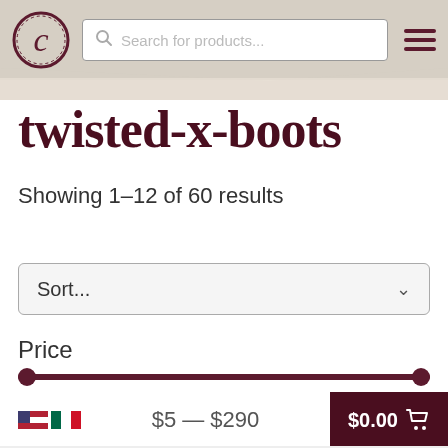[Figure (screenshot): Website header with logo (C in circle), search box with 'Search for products...' placeholder, and hamburger menu icon on beige/tan background]
twisted-x-boots
Showing 1–12 of 60 results
Sort...
Price
$5 — $290
$0.00